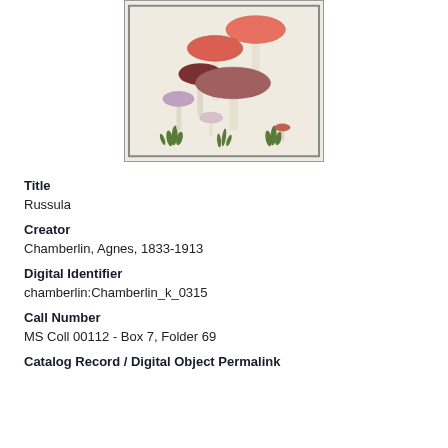[Figure (illustration): Botanical illustration of Russula mushrooms — several mushrooms in various sizes and colors (pink, red, brown, white) with grass, illustrated in a vintage style on a cream background with a gray border frame.]
Title
Russula
Creator
Chamberlin, Agnes, 1833-1913
Digital Identifier
chamberlin:Chamberlin_k_0315
Call Number
MS Coll 00112 - Box 7, Folder 69
Catalog Record / Digital Object Permalink